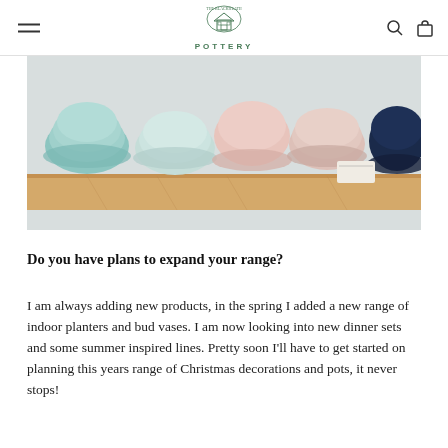THE BLACKHEATH POTTERY
[Figure (photo): A row of ceramic bowls in various colors (teal, mint, pink, blush, navy) stacked on a wooden shelf]
Do you have plans to expand your range?
I am always adding new products, in the spring I added a new range of indoor planters and bud vases. I am now looking into new dinner sets and some summer inspired lines. Pretty soon I'll have to get started on planning this years range of Christmas decorations and pots, it never stops!